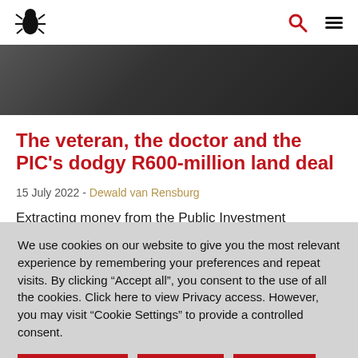Navigation header with logo and icons
[Figure (photo): Black and white photo of a person, partially visible, dark background]
The veteran, the doctor and the PIC's dodgy R600-million land deal
15 July 2022 - Dewald van Rensburg
Extracting money from the Public Investment
We use cookies on our website to give you the most relevant experience by remembering your preferences and repeat visits. By clicking “Accept all”, you consent to the use of all the cookies. Click here to view Privacy access. However, you may visit "Cookie Settings" to provide a controlled consent.